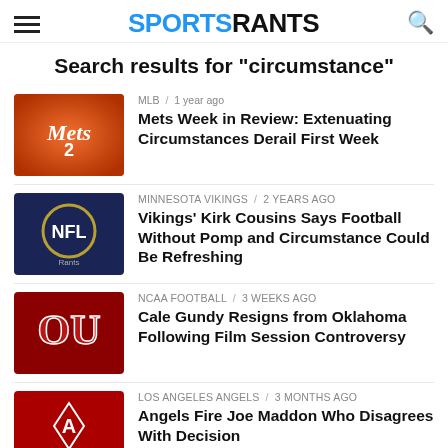SPORTSRANTS
Search results for "circumstance"
MLB / 1 year ago — Mets Week in Review: Extenuating Circumstances Derail First Week
MINNESOTA VIKINGS / 2 years ago — Vikings' Kirk Cousins Says Football Without Pomp and Circumstance Could Be Refreshing
NCAA FOOTBALL / 3 weeks ago — Cale Gundy Resigns from Oklahoma Following Film Session Controversy
LOS ANGELES ANGELS / 3 months ago — Angels Fire Joe Maddon Who Disagrees With Decision